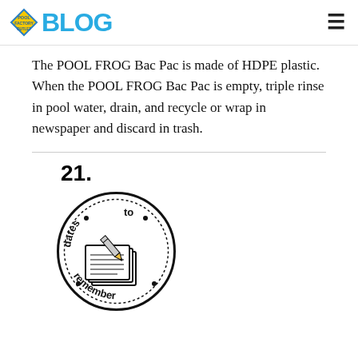BLOG
The POOL FROG Bac Pac is made of HDPE plastic. When the POOL FROG Bac Pac is empty, triple rinse in pool water, drain, and recycle or wrap in newspaper and discard in trash.
21.
[Figure (illustration): A circular stamp/badge illustration with the text 'dates to remember' arranged around the border with bullet points, and an image of a calendar/notepad in the center.]